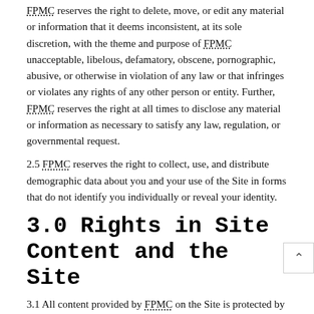FPMC reserves the right to delete, move, or edit any material or information that it deems inconsistent, at its sole discretion, with the theme and purpose of FPMC unacceptable, libelous, defamatory, obscene, pornographic, abusive, or otherwise in violation of any law or that infringes or violates any rights of any other person or entity. Further, FPMC reserves the right at all times to disclose any material or information as necessary to satisfy any law, regulation, or governmental request.
2.5 FPMC reserves the right to collect, use, and distribute demographic data about you and your use of the Site in forms that do not identify you individually or reveal your identity.
3.0 Rights in Site Content and the Site
3.1 All content provided by FPMC on the Site is protected by